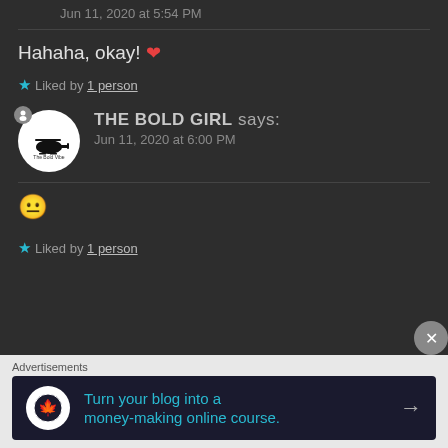Jun 11, 2020 at 5:54 PM
Hahaha, okay! ❤
★ Liked by 1 person
THE BOLD GIRL says:
Jun 11, 2020 at 6:00 PM
😬
★ Liked by 1 person
Advertisements
Turn your blog into a money-making online course.